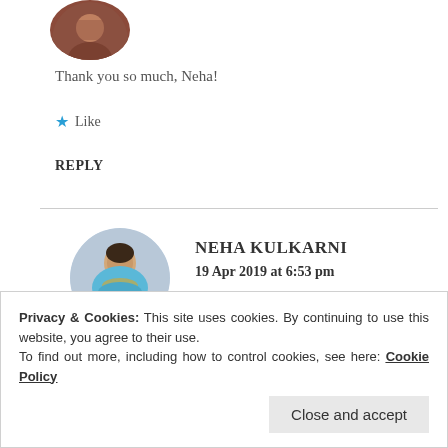[Figure (photo): Circular avatar photo of a person, partially cropped at top of page]
Thank you so much, Neha!
★ Like
REPLY
[Figure (photo): Circular avatar photo of Neha Kulkarni, a woman in a light blue outfit with jewelry]
NEHA KULKARNI
19 Apr 2019 at 6:53 pm
Privacy & Cookies: This site uses cookies. By continuing to use this website, you agree to their use.
To find out more, including how to control cookies, see here: Cookie Policy
Close and accept